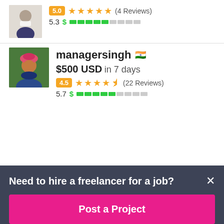[Figure (photo): Profile avatar of first freelancer (partially visible, man in suit)]
5.0 ★★★★★ (4 Reviews)
5.3 $ ████░░░░░
[Figure (photo): Profile avatar of managersingh (man with pink turban)]
managersingh 🇮🇳
$500 USD in 7 days
4.5 ★★★★½ (22 Reviews)
5.7 $ ████░░░░░
Need to hire a freelancer for a job?
Post a Project